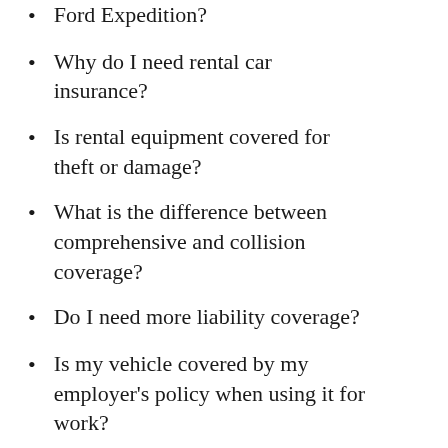Ford Expedition?
Why do I need rental car insurance?
Is rental equipment covered for theft or damage?
What is the difference between comprehensive and collision coverage?
Do I need more liability coverage?
Is my vehicle covered by my employer's policy when using it for work?